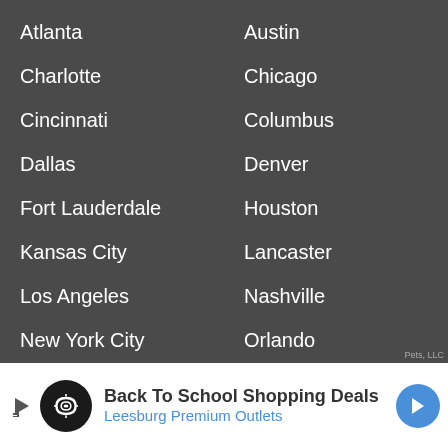Atlanta
Austin
Charlotte
Chicago
Cincinnati
Columbus
Dallas
Denver
Fort Lauderdale
Houston
Kansas City
Lancaster
Los Angeles
Nashville
New York City
Orlando
Phoenix
San Antonio
San Diego
Seattle
Springfield
Saint Louis
Tampa
Tulsa
[Figure (infographic): Back To School Shopping Deals advertisement banner for Leesburg Premium Outlets]